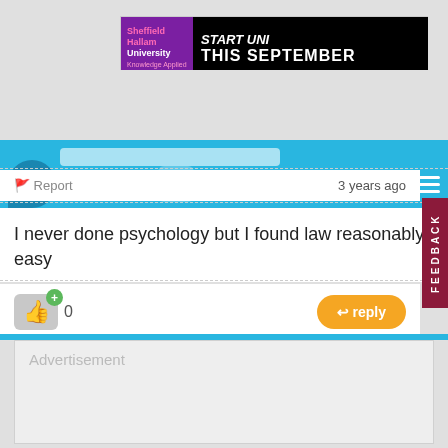[Figure (screenshot): Sheffield Hallam University advertisement banner: START UNI THIS SEPTEMBER]
[Figure (screenshot): The Student Room navigation bar with log in, sign up, search and menu icons]
Report   3 years ago
I never done psychology but I found law reasonably easy
0  reply
Advertisement